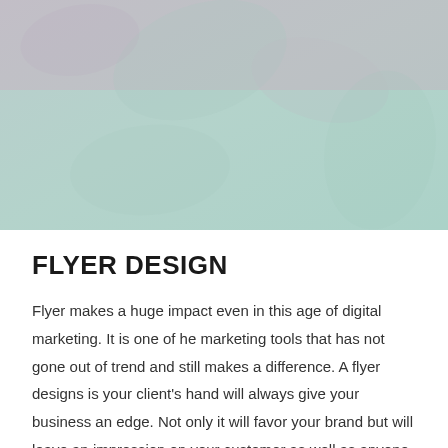[Figure (illustration): A soft-toned background image with pale mauve/pink tones at the top transitioning to a mint/teal green color below. There appear to be faint floral or leaf-like shapes in the background.]
FLYER DESIGN
Flyer makes a huge impact even in this age of digital marketing. It is one of he marketing tools that has not gone out of trend and still makes a difference. A flyer designs is your client's hand will always give your business an edge. Not only it will favor your brand but will leave an impression on your customer as well as anyone who